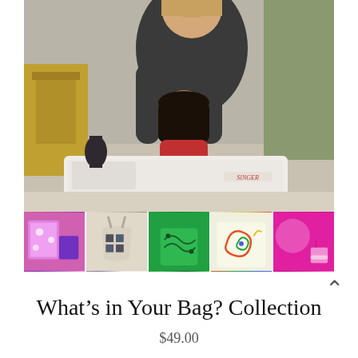[Figure (photo): Top portion: a woman leaning over a young girl who is looking down at a white Singer sewing machine on a table in a classroom setting. Bottom strip: five small product images showing handmade fabric bags and accessories in various colorful patterns (purple floral, black/white patterned crossbody bag, green patterned crossbody bag, multicolor swirl tote, pink accessories).]
What's in Your Bag? Collection
$49.00